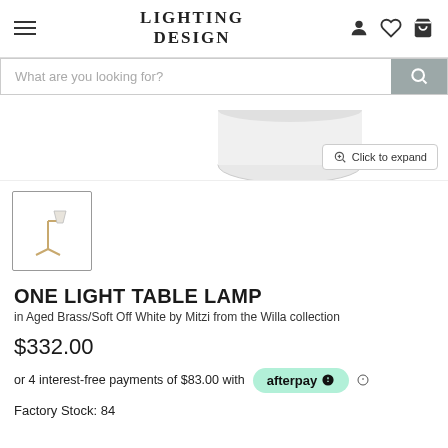LIGHTING DESIGN
What are you looking for?
[Figure (photo): Bottom portion of a table lamp shade, white/light colored, partially visible at top of product image area]
Click to expand
[Figure (photo): Thumbnail image of a table lamp in Aged Brass/Soft Off White finish with a small adjustable shade]
ONE LIGHT TABLE LAMP
in Aged Brass/Soft Off White by Mitzi from the Willa collection
$332.00
or 4 interest-free payments of $83.00 with afterpay
Factory Stock: 84